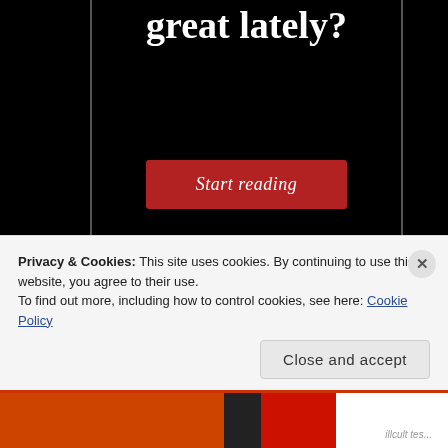great lately?
[Figure (screenshot): Red 'Start reading' button on black background]
Privacy & Cookies: This site uses cookies. By continuing to use this website, you agree to their use.
To find out more, including how to control cookies, see here: Cookie Policy
Close and accept